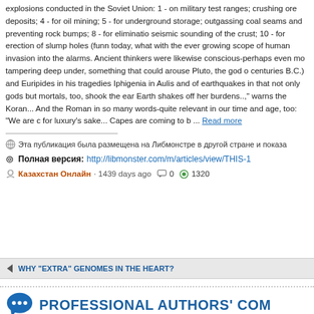explosions conducted in the Soviet Union: 1 - on military test ranges; crushing ore deposits; 4 - for oil mining; 5 - for underground storage; outgassing coal seams and preventing rock bumps; 8 - for elimination; seismic sounding of the crust; 10 - for erection of slump holes (funn today, what with the ever growing scope of human invasion into the alarms. Ancient thinkers were likewise conscious-perhaps even mo tampering deep under, something that could arouse Pluto, the god of centuries B.C.) and Euripides in his tragedies Iphigenia in Aulis and of earthquakes in that not only gods but mortals, too, shook the ear Earth shakes off her burdens..," warns the Koran... And the Roman in so many words-quite relevant in our time and age, too: "We are c for luxury's sake... Capes are coming to b ... Read more
Эта публикация была размещена на Либмонстре в другой стране и показа
Полная версия: http://libmonster.com/m/articles/view/THIS-1
Казахстан Онлайн · 1439 days ago  0  1320
WHY "EXTRA" GENOMES IN THE HEART?
PROFESSIONAL AUTHORS' COM